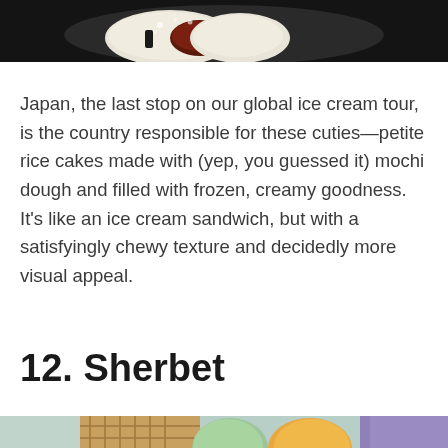[Figure (photo): Close-up photo of mochi ice cream cut in half showing the red/dark filling inside white mochi dough, on a dark background]
Japan, the last stop on our global ice cream tour, is the country responsible for these cuties—petite rice cakes made with (yep, you guessed it) mochi dough and filled with frozen, creamy goodness. It's like an ice cream sandwich, but with a satisfyingly chewy texture and decidedly more visual appeal.
12. Sherbet
[Figure (photo): Photo of sherbet scoops with waffles, showing green mint and orange/yellow colored sherbet scoops with waffle pieces on a light blue background with purple elements]